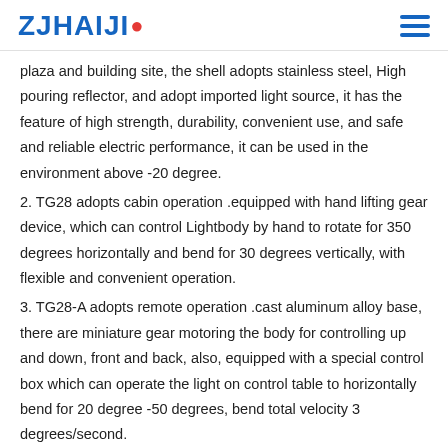ZJHAIJI
plaza and building site, the shell adopts stainless steel, High pouring reflector, and adopt imported light source, it has the feature of high strength, durability, convenient use, and safe and reliable electric performance, it can be used in the environment above -20 degree.
2. TG28 adopts cabin operation .equipped with hand lifting gear device, which can control Lightbody by hand to rotate for 350 degrees horizontally and bend for 30 degrees vertically, with flexible and convenient operation.
3. TG28-A adopts remote operation .cast aluminum alloy base, there are miniature gear motoring the body for controlling up and down, front and back, also, equipped with a special control box which can operate the light on control table to horizontally bend for 20 degree -50 degrees, bend total velocity 3 degrees/second.
4. TG28-B adopt deck operation, it can control body to rotate for